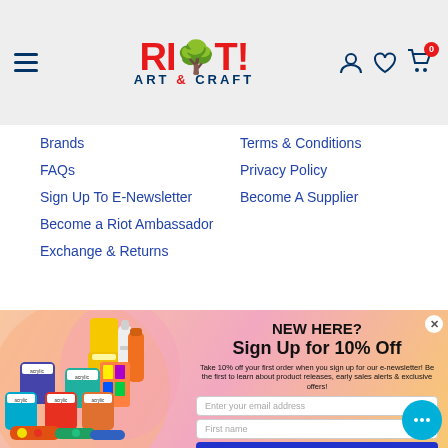[Figure (logo): Riot Art & Craft logo with red bold RIOT! text and blue ART & CRAFT subtitle, hamburger menu icon on left, user/heart/cart icons on right]
Brands
Terms & Conditions
FAQs
Privacy Policy
Sign Up To E-Newsletter
Become A Supplier
Become a Riot Ambassador
Exchange & Returns
[Figure (photo): Promotional popup showing acrylic paint jars and tubes on gradient pink/orange background. Text: NEW HERE? Sign Up for 10% Off. Take 10% off your first order when you sign up for our e-newsletter! Be the first to learn about product releases, early sales alerts & exclusive offers! Email and first name input fields, SUBMIT button.]